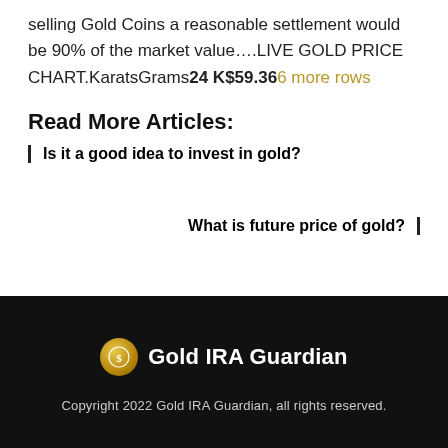selling Gold Coins a reasonable settlement would be 90% of the market value….LIVE GOLD PRICE CHART.KaratsGrams24 K$59.366 more rows
Read More Articles:
Is it a good idea to invest in gold?
What is future price of gold?
[Figure (logo): Gold IRA Guardian logo — gold coin icon with text 'Gold IRA Guardian' in white on black background]
Copyright 2022 Gold IRA Guardian, all rights reserved.